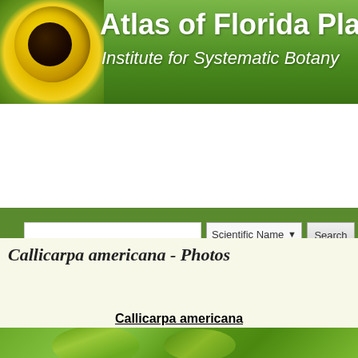[Figure (screenshot): Atlas of Florida Plants website header with yellow sunflower on green background, title text 'Atlas of Florida Plants' and subtitle 'Institute for Systematic Botany']
[Figure (screenshot): Search bar interface with text input, Scientific Name dropdown, Search button, Advanced Search and Search Help links on green background]
[Figure (screenshot): Advertisement/banner area with light grey gradient background]
Atlas of Florida Plants » Photos
Callicarpa americana - Photos
[Figure (screenshot): Navigation buttons: Previous Photo (green), Resize Photo dropdown, Next Photo (green, partially visible)]
Callicarpa americana
[Figure (photo): Photo of Callicarpa americana plant showing green leaves with an overlay label reading 'Callicarpa americana' and 'Photo by Allen Ba...' on black background]